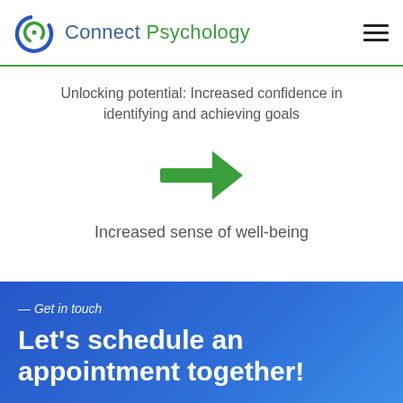Connect Psychology
Unlocking potential: Increased confidence in identifying and achieving goals
[Figure (illustration): Green right-pointing arrow icon]
Increased sense of well-being
— Get in touch
Let's schedule an appointment together!